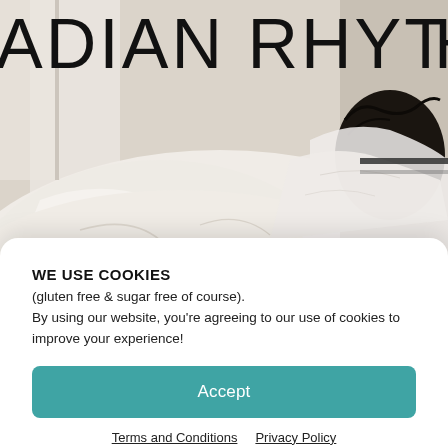[Figure (photo): Partial view of website header showing text 'ADIAN RHYT' (part of 'CIRCADIAN RHYTHM') in large thin font over a photo of a person lying in white bedding near a window, with dark hair visible.]
WE USE COOKIES
(gluten free & sugar free of course).
By using our website, you're agreeing to our use of cookies to improve your experience!
Accept
Terms and Conditions   Privacy Policy